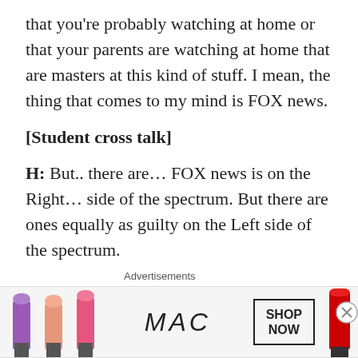that you’re probably watching at home or that your parents are watching at home that are masters at this kind of stuff. I mean, the thing that comes to my mind is FOX news.
[Student cross talk]
H: But.. there are… FOX news is on the Right… side of the spectrum. But there are ones equally as guilty on the Left side of the spectrum.
My father who is a cah-razy conservative, thinks NPR is guilty of that. I don’t think so. I think, like…
I think like CNN and NPR and Al Qaeda… [sigh]Uh, Al Qaeda… [class laughs]. Al Jazeera are all sort of middle
[Figure (photo): MAC Cosmetics advertisement banner showing lipsticks in purple, peach, and pink, MAC logo, SHOP NOW button, and a red lipstick]